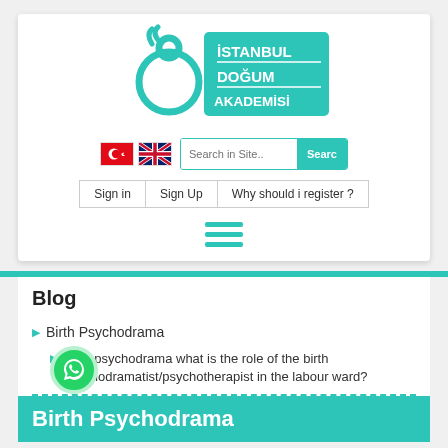[Figure (logo): Istanbul Doğum Akademisi logo — teal circular figure with text İSTANBUL DOĞUM AKADEMİSİ on teal rectangle background]
[Figure (screenshot): Website navigation bar with Turkish and UK flags, search box with placeholder 'Search in Site..' and teal Search button]
[Figure (screenshot): Navigation buttons: Sign in, Sign Up, Why should i register?]
[Figure (screenshot): Hamburger menu icon with three teal horizontal lines]
Blog
Birth Psychodrama
Birth psychodrama what is the role of the birth psychodramatist/psychotherapist in the labour ward?
Birth Psychodrama